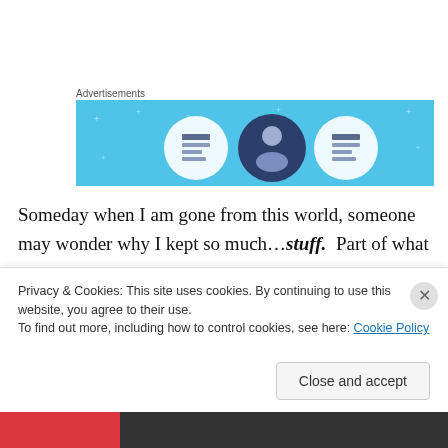Advertisements
[Figure (illustration): Advertisement banner with light blue background showing three circular icons with document/person graphics and small plus/star decorative elements]
Someday when I am gone from this world, someone may wonder why I kept so much…stuff.  Part of what I hope to accomplish with Patchwork And Potpourri is to explain my collections, and to make other people contemplate their own, and share the stories behind the stuff.  Hence
Privacy & Cookies: This site uses cookies. By continuing to use this website, you agree to their use.
To find out more, including how to control cookies, see here: Cookie Policy
Close and accept